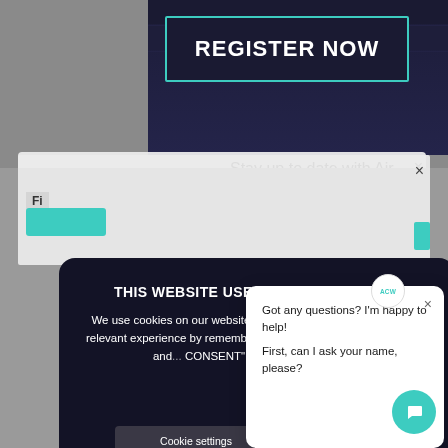[Figure (screenshot): Background website with dark navy banner showing REGISTER NOW button with teal border, and partial popup/modal visible behind cookie consent overlay]
THIS WEBSITE USES COOKIES
We use cookies on our website to give you the most relevant experience by remembering your preferences and... CONSENT", you co...
Cookie settings
Review our Cookie Policies
Got any questions? I'm happy to help!
First, can I ask your name, please?
slowdown in the express market